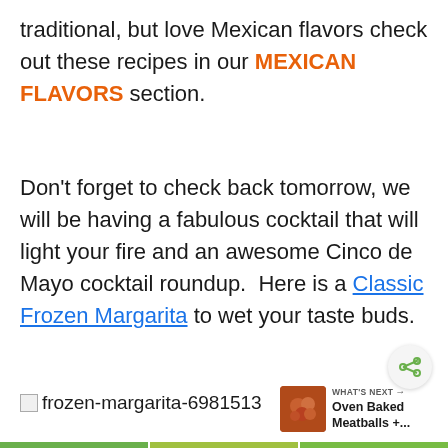traditional, but love Mexican flavors check out these recipes in our MEXICAN FLAVORS section.
Don't forget to check back tomorrow, we will be having a fabulous cocktail that will light your fire and an awesome Cinco de Mayo cocktail roundup.  Here is a Classic Frozen Margarita to wet your taste buds.
[Figure (other): Broken image placeholder for frozen-margarita-6981513]
[Figure (photo): Thumbnail of Oven Baked Meatballs with WHAT'S NEXT label and arrow]